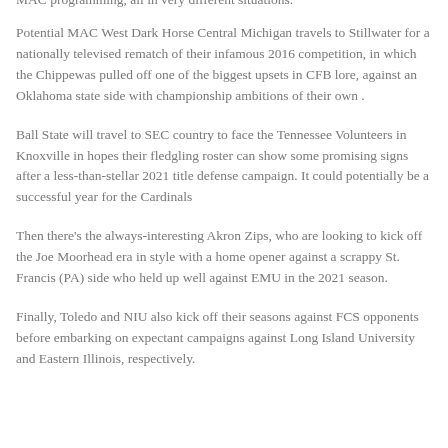MAC programming, all in very different situations.
Potential MAC West Dark Horse Central Michigan travels to Stillwater for a nationally televised rematch of their infamous 2016 competition, in which the Chippewas pulled off one of the biggest upsets in CFB lore, against an Oklahoma state side with championship ambitions of their own .
Ball State will travel to SEC country to face the Tennessee Volunteers in Knoxville in hopes their fledgling roster can show some promising signs after a less-than-stellar 2021 title defense campaign. It could potentially be a successful year for the Cardinals
Then there's the always-interesting Akron Zips, who are looking to kick off the Joe Moorhead era in style with a home opener against a scrappy St. Francis (PA) side who held up well against EMU in the 2021 season.
Finally, Toledo and NIU also kick off their seasons against FCS opponents before embarking on expectant campaigns against Long Island University and Eastern Illinois, respectively.